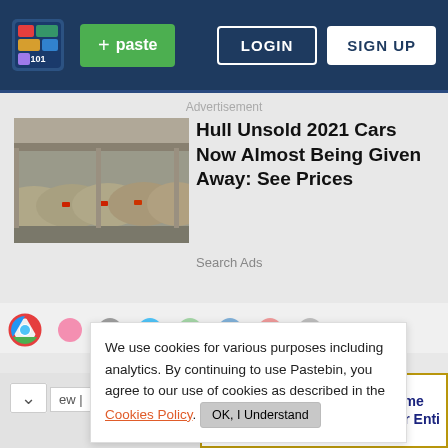[Figure (screenshot): Pastebin website navigation bar with logo, green paste button, LOGIN and SIGN UP buttons on dark navy background]
Advertisement
[Figure (photo): Row of dust-covered unsold cars in a parking lot or warehouse]
Hull Unsold 2021 Cars Now Almost Being Given Away: See Prices
Search Ads
[Figure (screenshot): Browser tab row with Chrome icon and colorful circle tab icons]
We use cookies for various purposes including analytics. By continuing to use Pastebin, you agree to our use of cookies as described in the Cookies Policy. OK, I Understand
[Figure (infographic): Gracious Retirement Living advertisement banner with Come See Our Entire text and heart logo]